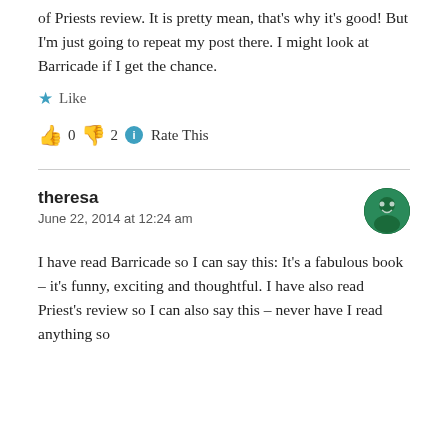of Priests review. It is pretty mean, that's why it's good! But I'm just going to repeat my post there. I might look at Barricade if I get the chance.
★ Like
👍 0 👎 2 ℹ Rate This
theresa
June 22, 2014 at 12:24 am
I have read Barricade so I can say this: It's a fabulous book – it's funny, exciting and thoughtful. I have also read Priest's review so I can also say this – never have I read anything so